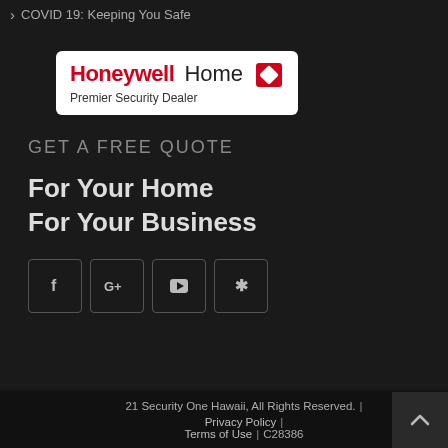COVID 19: Keeping You Safe
[Figure (logo): Honeywell Home Premier Security Dealer logo badge]
GET A FREE QUOTE
For Your Home
For Your Business
[Figure (infographic): Social media icons: Facebook, Google+, YouTube, Yelp]
21 Security One Hawaii, All Rights Reserved. | Privacy Policy | Terms of Use | C28386